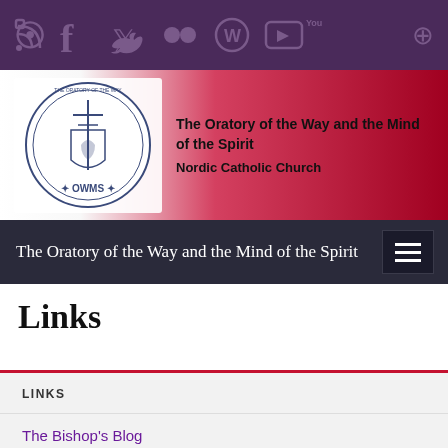Social media icons bar: RSS, Facebook, Twitter, Flickr, WordPress, YouTube, Search
[Figure (logo): OWMS circular seal/logo with bishop's crest and text]
The Oratory of the Way and the Mind of the Spirit
Nordic Catholic Church
The Oratory of the Way and the Mind of the Spirit
Links
LINKS
The Bishop's Blog
Order of Port Royal – Germany